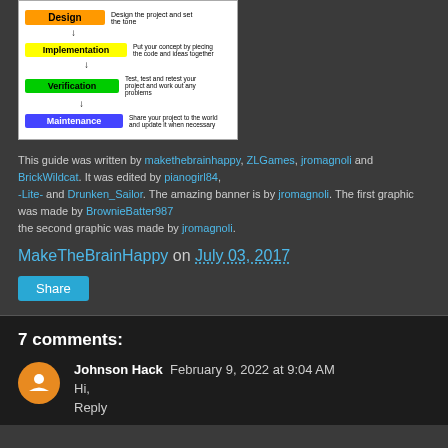[Figure (flowchart): Software development lifecycle flowchart with steps: Design, Implementation, Verification, Maintenance, each with a colored label and description text and arrows between them.]
This guide was written by makethebrainhappy, ZLGames, jromagnoli and BrickWildcat. It was edited by pianogirl84, -Lite- and Drunken_Sailor. The amazing banner is by jromagnoli. The first graphic was made by BrownieBatter987 the second graphic was made by jromagnoli.
MakeTheBrainHappy on July 03, 2017
Share
7 comments:
Johnson Hack  February 9, 2022 at 9:04 AM
Hi,
Reply